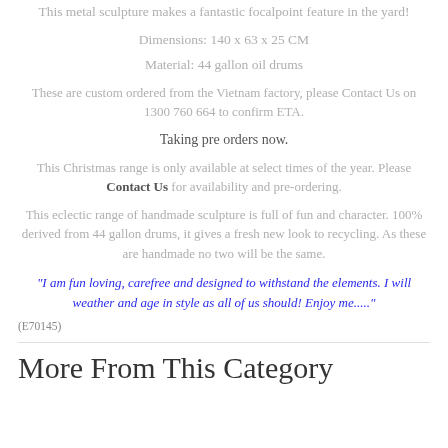This metal sculpture makes a fantastic focalpoint feature in the yard!
Dimensions: 140 x 63 x 25 CM
Material: 44 gallon oil drums
These are custom ordered from the Vietnam factory, please Contact Us on 1300 760 664 to confirm ETA.
Taking pre orders now.
This Christmas range is only available at select times of the year. Please Contact Us for availability and pre-ordering.
This eclectic range of handmade sculpture is full of fun and character. 100% derived from 44 gallon drums, it gives a fresh new look to recycling. As these are handmade no two will be the same.
"I am fun loving, carefree and designed to withstand the elements. I will weather and age in style as all of us should! Enjoy me....."
(E70145)
More From This Category